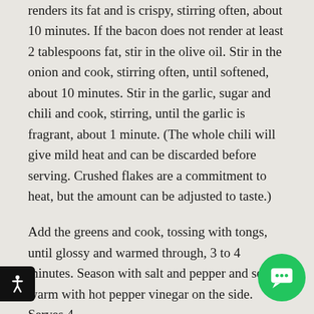renders its fat and is crispy, stirring often, about 10 minutes. If the bacon does not render at least 2 tablespoons fat, stir in the olive oil. Stir in the onion and cook, stirring often, until softened, about 10 minutes. Stir in the garlic, sugar and chili and cook, stirring, until the garlic is fragrant, about 1 minute. (The whole chili will give mild heat and can be discarded before serving. Crushed flakes are a commitment to heat, but the amount can be adjusted to taste.)
Add the greens and cook, tossing with tongs, until glossy and warmed through, 3 to 4 minutes. Season with salt and pepper and serve warm with hot pepper vinegar on the side. Serves 4.
Watch for Sheri on a new show on UNC Public TV this coming year. It's called Cooking at Home with Sheri Co... Each episode will introduce viewers to North Carolina ingredients and exciting recipes they can easily replicate at